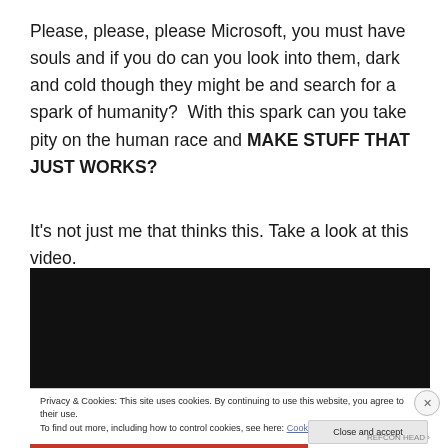Please, please, please Microsoft, you must have souls and if you do can you look into them, dark and cold though they might be and search for a spark of humanity?  With this spark can you take pity on the human race and MAKE STUFF THAT JUST WORKS?
It's not just me that thinks this. Take a look at this video.
[Figure (screenshot): Embedded video player — black/dark rectangle representing a video embed]
Privacy & Cookies: This site uses cookies. By continuing to use this website, you agree to their use.
To find out more, including how to control cookies, see here: Cookie Policy
Close and accept